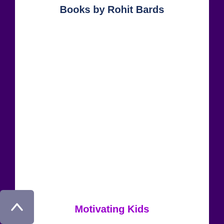Books by Rohit Bards
Motivating Kids